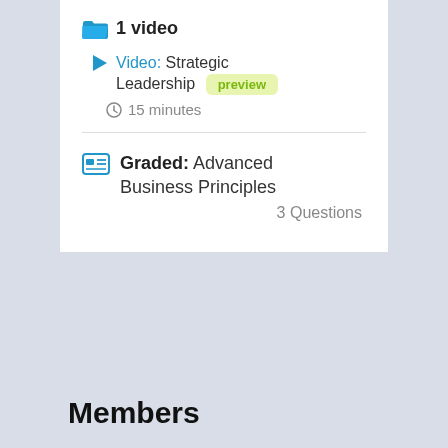1 video
Video: Strategic Leadership  preview  15 minutes
Graded: Advanced Business Principles  3 Questions
Members